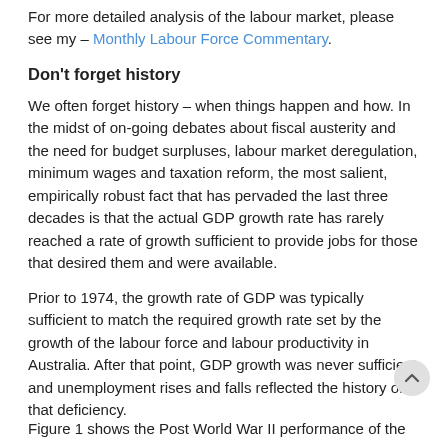For more detailed analysis of the labour market, please see my – Monthly Labour Force Commentary.
Don't forget history
We often forget history – when things happen and how. In the midst of on-going debates about fiscal austerity and the need for budget surpluses, labour market deregulation, minimum wages and taxation reform, the most salient, empirically robust fact that has pervaded the last three decades is that the actual GDP growth rate has rarely reached a rate of growth sufficient to provide jobs for those that desired them and were available.
Prior to 1974, the growth rate of GDP was typically sufficient to match the required growth rate set by the growth of the labour force and labour productivity in Australia. After that point, GDP growth was never sufficient and unemployment rises and falls reflected the history of that deficiency.
Figure 1 shows the Post World War II performance of the